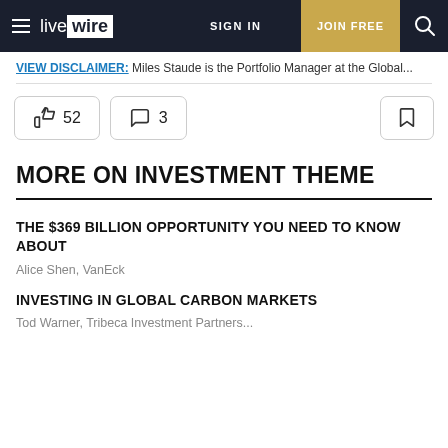live wire | SIGN IN | JOIN FREE
VIEW DISCLAIMER: Miles Staude is the Portfolio Manager at the Global...
👍 52   💬 3   🔖
MORE ON INVESTMENT THEME
THE $369 BILLION OPPORTUNITY YOU NEED TO KNOW ABOUT
Alice Shen, VanEck
INVESTING IN GLOBAL CARBON MARKETS